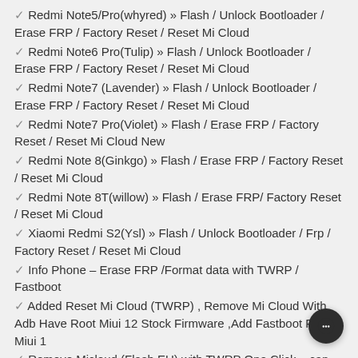✓ Redmi Note5/Pro(whyred) » Flash / Unlock Bootloader / Erase FRP / Factory Reset / Reset Mi Cloud
✓ Redmi Note6 Pro(Tulip) » Flash / Unlock Bootloader / Erase FRP / Factory Reset / Reset Mi Cloud
✓ Redmi Note7 (Lavender) » Flash / Unlock Bootloader / Erase FRP / Factory Reset / Reset Mi Cloud
✓ Redmi Note7 Pro(Violet) » Flash / Erase FRP / Factory Reset / Reset Mi Cloud New
✓ Redmi Note 8(Ginkgo) » Flash / Erase FRP / Factory Reset / Reset Mi Cloud
✓ Redmi Note 8T(willow) » Flash / Erase FRP/ Factory Reset / Reset Mi Cloud
✓ Xiaomi Redmi S2(Ysl) » Flash / Unlock Bootloader / Frp / Factory Reset / Reset Mi Cloud
✓ Info Phone – Erase FRP /Format data with TWRP / Fastboot
✓ Added Reset Mi Cloud (TWRP) , Remove Mi Cloud With Adb Have Root Miui 12 Stock Firmware ,Add Fastboot Flash Miui 1
✓ Remove Micloud (Flash EU) with TWRP One Click » can Factory